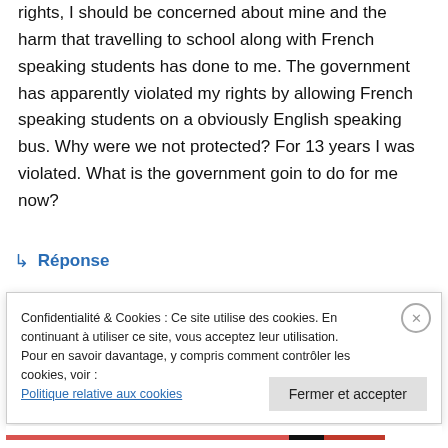rights, I should be concerned about mine and the harm that travelling to school along with French speaking students has done to me. The government has apparently violated my rights by allowing French speaking students on a obviously English speaking bus. Why were we not protected? For 13 years I was violated. What is the government goin to do for me now?
↳ Réponse
Confidentialité & Cookies : Ce site utilise des cookies. En continuant à utiliser ce site, vous acceptez leur utilisation.
Pour en savoir davantage, y compris comment contrôler les cookies, voir :
Politique relative aux cookies